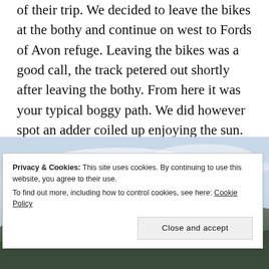of their trip. We decided to leave the bikes at the bothy and continue on west to Fords of Avon refuge. Leaving the bikes was a good call, the track petered out shortly after leaving the bothy. From here it was your typical boggy path. We did however spot an adder coiled up enjoying the sun. Didn't hang around when it spotted us and it slithered away into the heather.
[Figure (photo): Landscape photo of Scottish highlands with a wide sky covered in light clouds over hills and moorland, partially obscured by a cookie consent banner]
Privacy & Cookies: This site uses cookies. By continuing to use this website, you agree to their use.
To find out more, including how to control cookies, see here: Cookie Policy
Close and accept